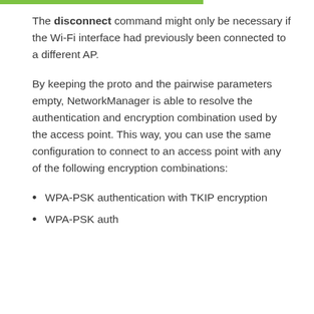The disconnect command might only be necessary if the Wi-Fi interface had previously been connected to a different AP.
By keeping the proto and the pairwise parameters empty, NetworkManager is able to resolve the authentication and encryption combination used by the access point. This way, you can use the same configuration to connect to an access point with any of the following encryption combinations:
WPA-PSK authentication with TKIP encryption
WPA-PSK authentication with...